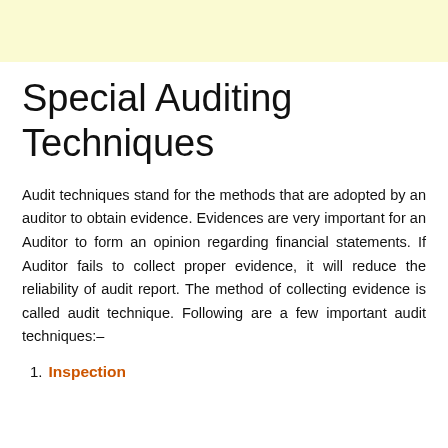Special Auditing Techniques
Audit techniques stand for the methods that are adopted by an auditor to obtain evidence. Evidences are very important for an Auditor to form an opinion regarding financial statements. If Auditor fails to collect proper evidence, it will reduce the reliability of audit report. The method of collecting evidence is called audit technique. Following are a few important audit techniques:–
1. Inspection